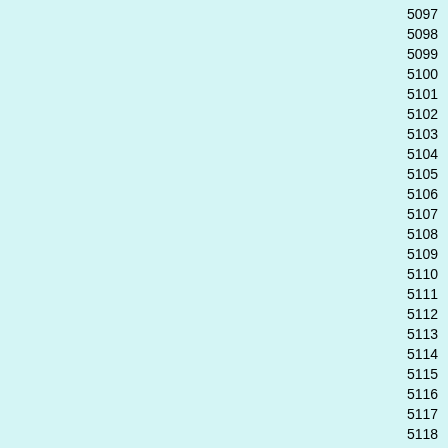| # | Callsign | Name | Location |
| --- | --- | --- | --- |
| 5097 | W2ZRA | Kevin MacDonald | Cutchogue, N |
| 5098 | N0JTM | Jeff McNear | Lincoln, NE |
| 5099 | K7VYH | Stan Zulaski | McMinnville, |
| 5100 | KI3N | Kenneth Yates | Oxford, AL |
| 5101 | WA7JUW | Wilford Rice | Eureka, UT |
| 5102 | KD8BIG | Mark Strait | Muskegon, M |
| 5103 | VE3IKT | Ken Trumbley | Kanata, ON |
| 5104 | W8LGZ | Jim Spragg | Little Hocking |
| 5105 | W8JTW | Joseph Wigal | Marietta, OH |
| 5106 | DK7FA | Frank Alzen | Holler, |
| 5107 | W3PX | James Smirk | Dagsboro, DE |
| 5108 | K9JFK | James Irving | Franklin, WI |
| 5109 | KB4XV | Gary Yerby | Castalian Spr TN |
| 5110 | AA2YK | Ernie Mossl | Modena, NY |
| 5111 | W4WII | Aaron Wolfe | Palm Beach Gardens, FL |
| 5112 | WB2B | Michael Coles | Elmer, NJ |
| 5113 | N5JEP | Rosalio Salas | Paris, TX |
| 5114 | Z32ID | Igor Derivolov | Stip, |
| 5115 | K4TBX | Arnold Burton, Jr. | Merritt Island, |
| 5116 | W6EQB | Paul Mckinnie | Foster City, C |
| 5117 | NE7AA | Richard Ullery | Dallas, OR |
| 5118 | AC0TW | Matthew Champion | Fenton, MO |
| 5119 | W7MWI | Mark Lindsay | Tacoma, WA |